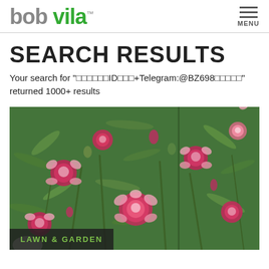bob vila™
SEARCH RESULTS
Your search for "□□□□□□ID□□□+Telegram:@BZ698□□□□□" returned 1000+ results
[Figure (photo): Close-up photo of pink and white carnation flowers with green foliage, with a 'LAWN & GARDEN' label overlay in the bottom left corner.]